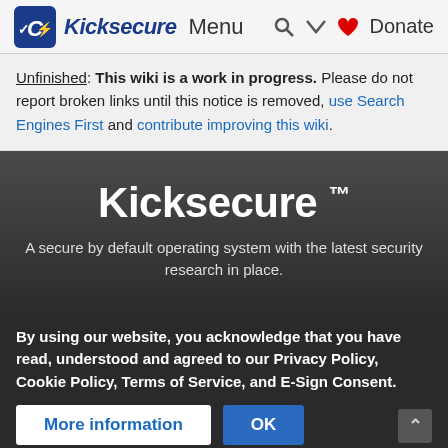Kicksecure Menu | Donate
Unfinished: This wiki is a work in progress. Please do not report broken links until this notice is removed, use Search Engines First and contribute improving this wiki.
Kicksecure ™
A secure by default operating system with the latest security research in place.
By using our website, you acknowledge that you have read, understood and agreed to our Privacy Policy, Cookie Policy, Terms of Service, and E-Sign Consent.